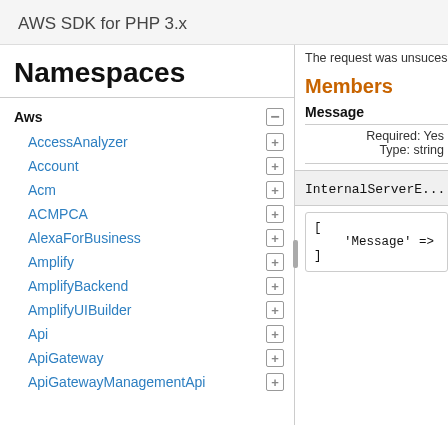AWS SDK for PHP 3.x
The request was unsucess...
Namespaces
Aws
AccessAnalyzer
Account
Acm
ACMPCA
AlexaForBusiness
Amplify
AmplifyBackend
AmplifyUIBuilder
Api
ApiGateway
ApiGatewayManagementApi
Members
Message
Required: Yes
Type: string
InternalServerE...
[
    'Message' =>
]